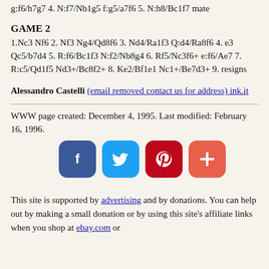g:f6/h7g7 4. N:f7/Nb1g5 f:g5/a7f6 5. N:h8/Bc1f7 mate
GAME 2
1.Nc3 Nf6 2. Nf3 Ng4/Qd8f6 3. Nd4/Ra1f3 Q:d4/Ra8f6 4. e3 Qc5/b7d4 5. R:f6/Bc1f3 N:f2/Nb8g4 6. Rf5/Nc3f6+ e:f6/Ae7 7. R:c5/Qd1f5 Nd3+/Bc8f2+ 8. Ke2/Bf1e1 Nc1+/Be7d3+ 9. resigns
Alessandro Castelli (email removed contact us for address) ink.it
WWW page created: December 4, 1995. Last modified: February 16, 1996.
[Figure (infographic): Four social media sharing buttons: Facebook (blue), Twitter (light blue), Pinterest (dark red), and a plus/more button (orange-red)]
This site is supported by advertising and by donations. You can help out by making a small donation or by using this site's affiliate links when you shop at ebay.com or